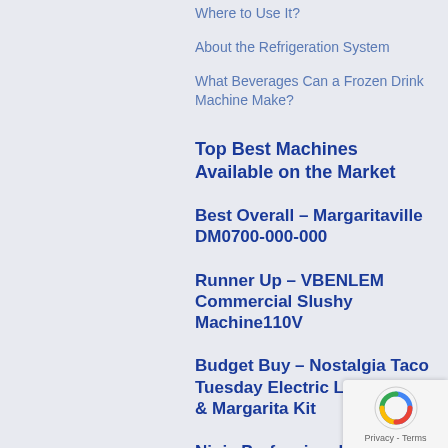Where to Use It?
About the Refrigeration System
What Beverages Can a Frozen Drink Machine Make?
Top Best Machines Available on the Market
Best Overall - Margaritaville DM0700-000-000
Runner Up - VBENLEM Commercial Slushy Machine110V
Budget Buy - Nostalgia Taco Tuesday Electric Lime Juicer & Margarita Kit
Ninja Professional 72 Oz